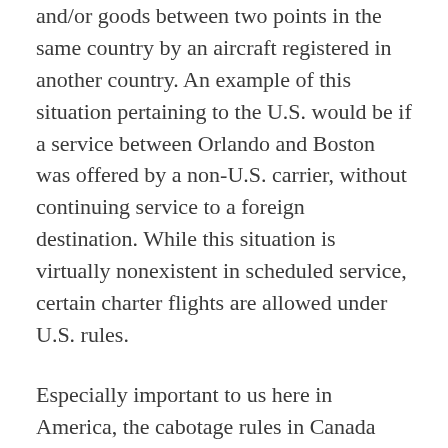and/or goods between two points in the same country by an aircraft registered in another country. An example of this situation pertaining to the U.S. would be if a service between Orlando and Boston was offered by a non-U.S. carrier, without continuing service to a foreign destination. While this situation is virtually nonexistent in scheduled service, certain charter flights are allowed under U.S. rules.
Especially important to us here in America, the cabotage rules in Canada require special attention. Non-Canadian registered charter operators are prohibited from carrying passengers between two points in Canada. This is obviously of critical importance when